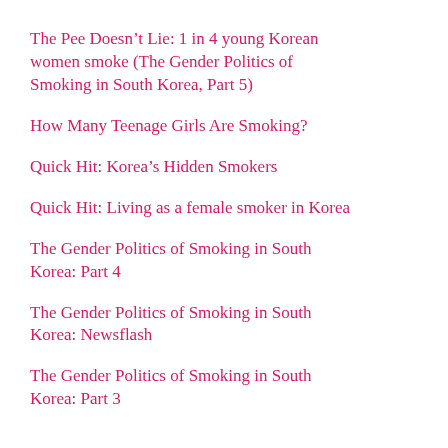The Pee Doesn’t Lie: 1 in 4 young Korean women smoke (The Gender Politics of Smoking in South Korea, Part 5)
How Many Teenage Girls Are Smoking?
Quick Hit: Korea’s Hidden Smokers
Quick Hit: Living as a female smoker in Korea
The Gender Politics of Smoking in South Korea: Part 4
The Gender Politics of Smoking in South Korea: Newsflash
The Gender Politics of Smoking in South Korea: Part 3